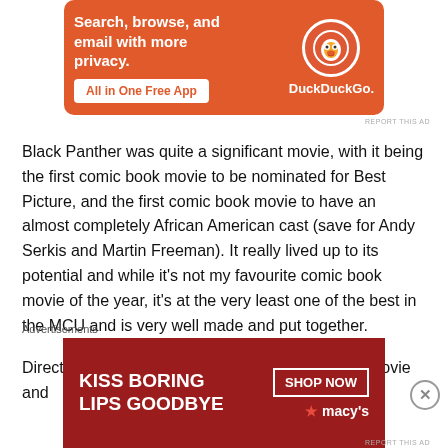[Figure (infographic): DuckDuckGo advertisement banner with orange background, text 'Search, browse, and email with more privacy. All in One Free App' and DuckDuckGo logo on right side.]
Black Panther was quite a significant movie, with it being the first comic book movie to be nominated for Best Picture, and the first comic book movie to have an almost completely African American cast (save for Andy Serkis and Martin Freeman). It really lived up to its potential and while it's not my favourite comic book movie of the year, it's at the very least one of the best in the MCU and is very well made and put together.
Director Ryan Coogler put together a really solid movie and
Advertisements
[Figure (infographic): Macy's advertisement with red background, bold white text 'KISS BORING LIPS GOODBYE', 'SHOP NOW' button, and Macy's star logo. Features a close-up of red lips.]